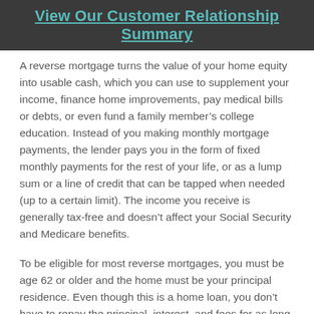View Our Customer Relationship Summary
A reverse mortgage turns the value of your home equity into usable cash, which you can use to supplement your income, finance home improvements, pay medical bills or debts, or even fund a family member’s college education. Instead of you making monthly mortgage payments, the lender pays you in the form of fixed monthly payments for the rest of your life, or as a lump sum or a line of credit that can be tapped when needed (up to a certain limit). The income you receive is generally tax-free and doesn’t affect your Social Security and Medicare benefits.
To be eligible for most reverse mortgages, you must be age 62 or older and the home must be your principal residence. Even though this is a home loan, you don’t have to repay the principal, interest, and fees for as long as you (and usually your surviving spouse) continue living in the home or the property